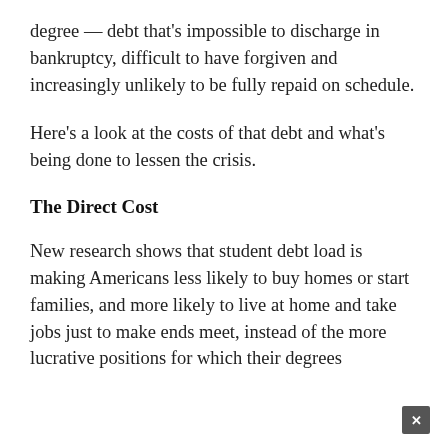degree — debt that's impossible to discharge in bankruptcy, difficult to have forgiven and increasingly unlikely to be fully repaid on schedule.
Here's a look at the costs of that debt and what's being done to lessen the crisis.
The Direct Cost
New research shows that student debt load is making Americans less likely to buy homes or start families, and more likely to live at home and take jobs just to make ends meet, instead of the more lucrative positions for which their degrees